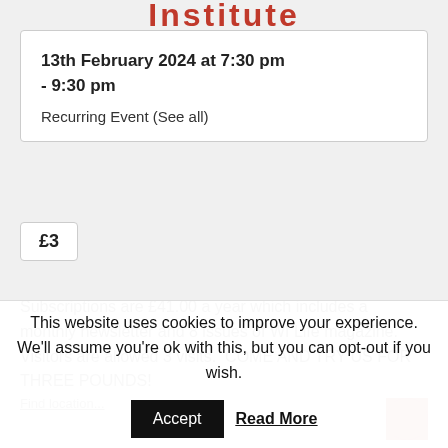Institute
13th February 2024 at 7:30 pm - 9:30 pm
Recurring Event (See all)
£3
Subscriptions are £41.00 a year which includes a monthly newsletter and 8 issues of WI Life magazine. Visitors are allowed 3 visits.  COME AND TRY US FOR THREE POUNDS!
This website uses cookies to improve your experience. We'll assume you're ok with this, but you can opt-out if you wish.
Accept
Read More